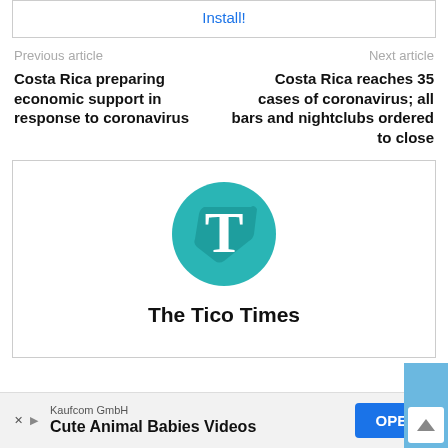Install!
Previous article
Next article
Costa Rica preparing economic support in response to coronavirus
Costa Rica reaches 35 cases of coronavirus; all bars and nightclubs ordered to close
[Figure (logo): The Tico Times logo: teal circle with white T letter and folded corner effect]
The Tico Times
Kaufcom GmbH Cute Animal Babies Videos OPEN